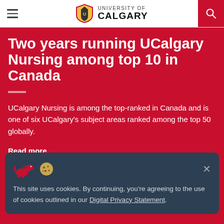University of Calgary
Two years running UCalgary Nursing among top 10 in Canada
UCalgary Nursing is among the top-ranked in Canada and is one of six UCalgary's subject areas ranked among the top 50 globally.
Read more
This site uses cookies. By continuing, you're agreeing to the use of cookies outlined in our Digital Privacy Statement.